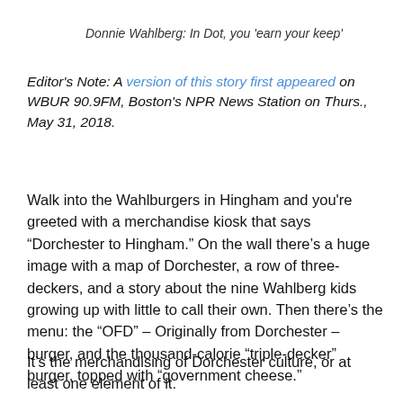Donnie Wahlberg: In Dot, you 'earn your keep'
Editor's Note: A version of this story first appeared on WBUR 90.9FM, Boston's NPR News Station on Thurs., May 31, 2018.
Walk into the Wahlburgers in Hingham and you're greeted with a merchandise kiosk that says “Dorchester to Hingham.” On the wall there’s a huge image with a map of Dorchester, a row of three-deckers, and a story about the nine Wahlberg kids growing up with little to call their own. Then there’s the menu: the “OFD” – Originally from Dorchester – burger, and the thousand-calorie “triple-decker” burger, topped with “government cheese.”
It’s the merchandising of Dorchester culture, or at least one element of it.